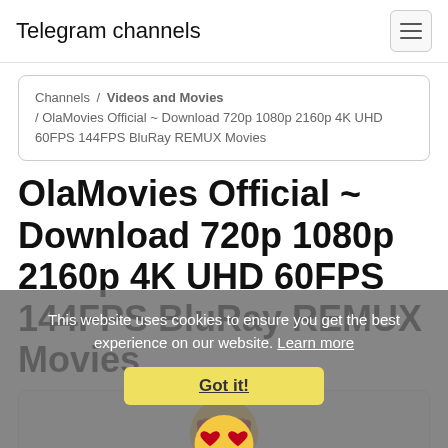Telegram channels
Channels / Videos and Movies / OlaMovies Official ~ Download 720p 1080p 2160p 4K UHD 60FPS 144FPS BluRay REMUX Movies
OlaMovies Official ~ Download 720p 1080p 2160p 4K UHD 60FPS 144FPS BluRay REMUX Movies
This website uses cookies to ensure you get the best experience on our website. Learn more
Got it!